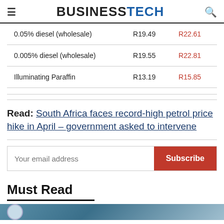BUSINESSTECH
| Fuel Type | Price | New Price |
| --- | --- | --- |
| 0.05% diesel (wholesale) | R19.49 | R22.61 |
| 0.005% diesel (wholesale) | R19.55 | R22.81 |
| Illuminating Paraffin | R13.19 | R15.85 |
Read: South Africa faces record-high petrol price hike in April – government asked to intervene
Your email address Subscribe
Must Read